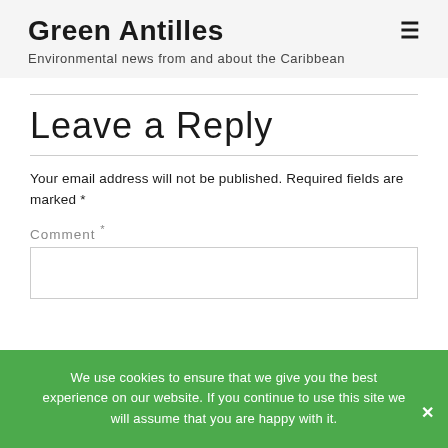Green Antilles
Environmental news from and about the Caribbean
Leave a Reply
Your email address will not be published. Required fields are marked *
Comment *
We use cookies to ensure that we give you the best experience on our website. If you continue to use this site we will assume that you are happy with it.